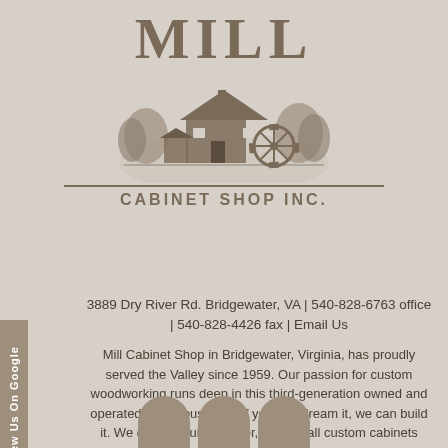[Figure (logo): Mill Cabinet Shop Inc. logo with large serif MILL text above an illustration of a water mill building surrounded by trees, with 'CABINET SHOP INC.' text below in caps with a horizontal rule]
3889 Dry River Rd. Bridgewater, VA | 540-828-6763 office | 540-828-4426 fax | Email Us
Mill Cabinet Shop in Bridgewater, Virginia, has proudly served the Valley since 1959. Our passion for custom woodworking runs deep in this third-generation owned and operated family business. If you can dream it, we can build it. We design, build, deliver, and install custom cabinets throughout central Virginia including Harrisonburg, Staunton, Charlottesville, Winchester, Keswick, Lexington, Wintergreen and Stoney Creek.
[Figure (other): Three partially visible social media icon circles at bottom of page]